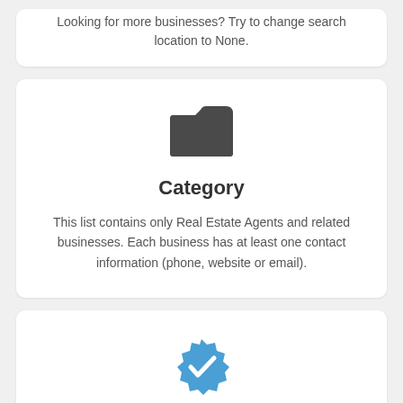Looking for more businesses? Try to change search location to None.
[Figure (illustration): Folder icon, dark gray]
Category
This list contains only Real Estate Agents and related businesses. Each business has at least one contact information (phone, website or email).
[Figure (illustration): Blue verified/certified badge icon with white checkmark]
Certified Profiles
You will notice that some businesses are marked with a